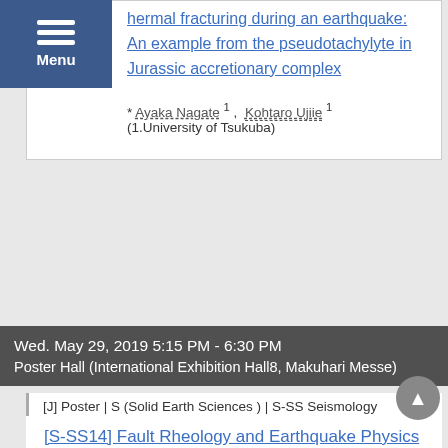Menu
[SSS14-P09] Estimation of the frictional heat and the amount of wall rock incorporation by thermal fracturing during an earthquake: An example from the pseudotachylyte in Jurassic accretionary complex
* Ayaka Nagate 1, Kohtaro Ujiie 1
(1.University of Tsukuba)
Wed. May 29, 2019 5:15 PM - 6:30 PM
Poster Hall (International Exhibition Hall8, Makuhari Messe)
[J] Poster | S (Solid Earth Sciences ) | S-SS Seismology
[S-SS14] Fault Rheology and Earthquake Physics
[SSS14-P09] Estimation of the frictional heat and the amount of wall rock incorporation by thermal fracturing during an earthquake: An example from the pseudotachylyte in Jurassic accretionary complex
* Ayaka Nagate 1, Kohtaro Ujiie 1
(1.University of Tsukuba)